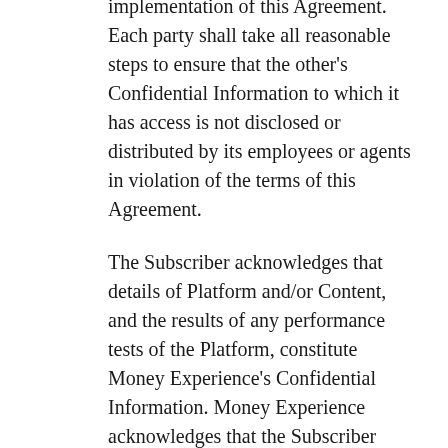implementation of this Agreement. Each party shall take all reasonable steps to ensure that the other's Confidential Information to which it has access is not disclosed or distributed by its employees or agents in violation of the terms of this Agreement.
The Subscriber acknowledges that details of Platform and/or Content, and the results of any performance tests of the Platform, constitute Money Experience's Confidential Information. Money Experience acknowledges that the Subscriber Data is the Confidential Information of the Subscriber.